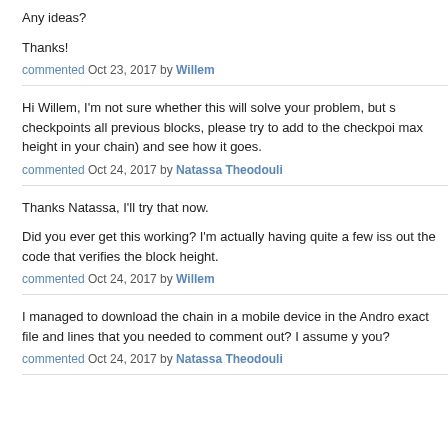Any ideas?
Thanks!
commented Oct 23, 2017 by Willem
Hi Willem, I'm not sure whether this will solve your problem, but since checkpoints all previous blocks, please try to add to the checkpoints (the max height in your chain) and see how it goes.
commented Oct 24, 2017 by Natassa Theodouli
Thanks Natassa, I'll try that now.
Did you ever get this working?  I'm actually having quite a few issues with out the code that verifies the block height.
commented Oct 24, 2017 by Willem
I managed to download the chain in a mobile device in the Android. exact file and lines that you needed to comment out? I assume y you?
commented Oct 24, 2017 by Natassa Theodouli